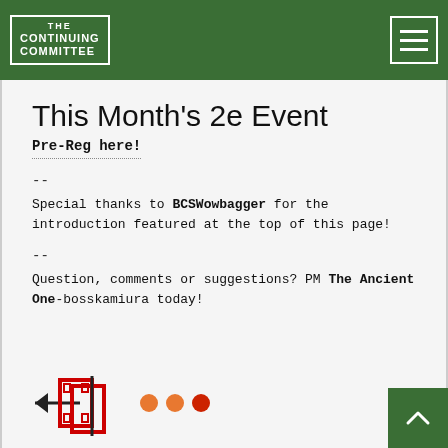THE CONTINUING COMMITTEE
This Month's 2e Event
Pre-Reg here!
--
Special thanks to BCSWowbagger for the introduction featured at the top of this page!
--
Question, comments or suggestions? PM The Ancient One-bosskamiura today!
[Figure (other): Film reel/video icon with three orange dots indicating loading]